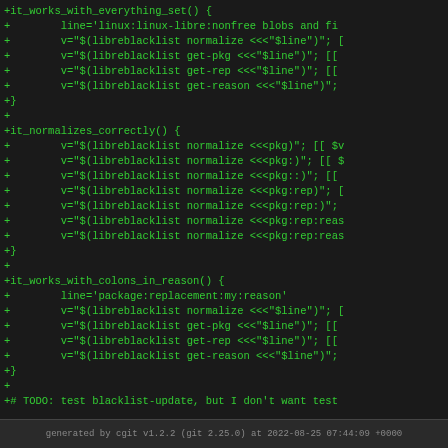+it_works_with_everything_set() {
+        line='linux:linux-libre:nonfree blobs and fi
+        v="$(libreblacklist normalize <<<"$line")"; 
+        v="$(libreblacklist get-pkg <<<"$line")"; [[
+        v="$(libreblacklist get-rep <<<"$line")"; [[
+        v="$(libreblacklist get-reason <<<"$line")";
+}
+
+it_normalizes_correctly() {
+        v="$(libreblacklist normalize <<<pkg)"; [[ $v
+        v="$(libreblacklist normalize <<<pkg:)"; [[ $
+        v="$(libreblacklist normalize <<<pkg::)"; [[
+        v="$(libreblacklist normalize <<<pkg:rep)"; [
+        v="$(libreblacklist normalize <<<pkg:rep:)";
+        v="$(libreblacklist normalize <<<pkg:rep:reas
+        v="$(libreblacklist normalize <<<pkg:rep:reas
+}
+
+it_works_with_colons_in_reason() {
+        line='package:replacement:my:reason'
+        v="$(libreblacklist normalize <<<"$line")"; [
+        v="$(libreblacklist get-pkg <<<"$line")"; [[
+        v="$(libreblacklist get-rep <<<"$line")"; [[
+        v="$(libreblacklist get-reason <<<"$line")";
+}
+
+# TODO: test blacklist-update, but I don't want test
generated by cgit v1.2.2 (git 2.25.0) at 2022-08-25 07:44:09 +0000